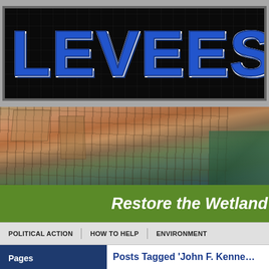LEVEES
[Figure (photo): Aerial view of a historic city with dense urban buildings, streets, and waterfront visible at edge]
Restore the Wetland
POLITICAL ACTION | HOW TO HELP | ENVIRONMENT
Pages
News Archive
Posts Tagged 'John F. Kenne…'
“And Death Shall Have No Domin… A Tribute to President John F. Ke…